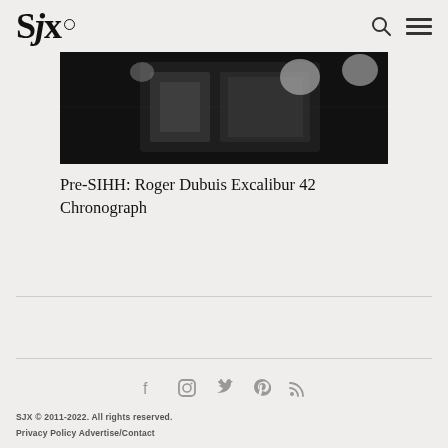SJX
[Figure (photo): Black and white close-up photo of a watch or mechanical object]
Pre-SIHH: Roger Dubuis Excalibur 42 Chronograph
SJX © 2011-2022. All rights reserved. Privacy Policy Advertise/Contact